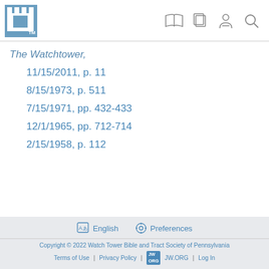JW.ORG Watchtower Library header with logo and navigation icons
The Watchtower,
11/15/2011, p. 11
8/15/1973, p. 511
7/15/1971, pp. 432-433
12/1/1965, pp. 712-714
2/15/1958, p. 112
English | Preferences | Copyright © 2022 Watch Tower Bible and Tract Society of Pennsylvania | Terms of Use | Privacy Policy | JW.ORG | Log In